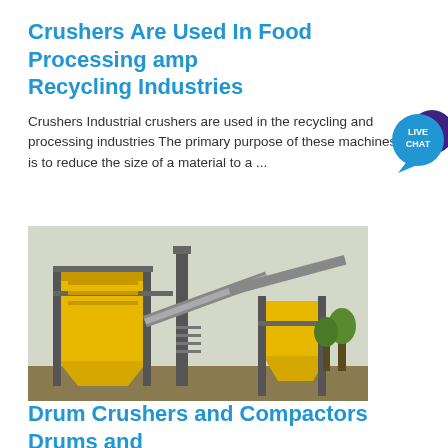Crushers Are Used In Food Processing amp Recycling Industries
Crushers Industrial crushers are used in the recycling and processing industries The primary purpose of these machines is to reduce the size of a material to a ...
[Figure (photo): Industrial yellow crushing and conveying machinery on a construction/mining site with steel frame structures, hoppers, and conveyor belts.]
Drum Crushers and Compactors Drums and Drum Handling